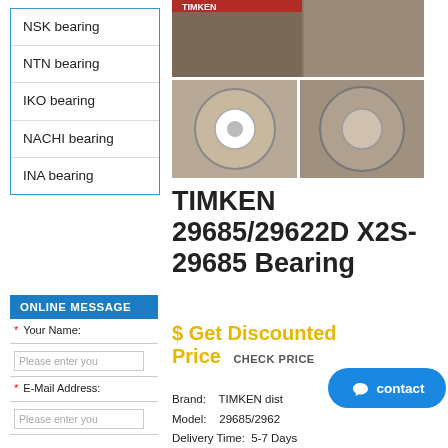NSK bearing
NTN bearing
IKO bearing
NACHI bearing
INA bearing
ONLINE MESSAGE
* Your Name:
Please enter you
* E-Mail Address:
Please enter you
[Figure (photo): Product images of TIMKEN 29685/29622D X2S-29685 bearing, showing multiple views including packaged bearings and individual ring components]
TIMKEN 29685/29622D X2S-29685 Bearing
$ Get Discounted Price  CHECK PRICE
Brand:   TIMKEN dist
Model:   29685/2962
Delivery Time:  5-7 Days